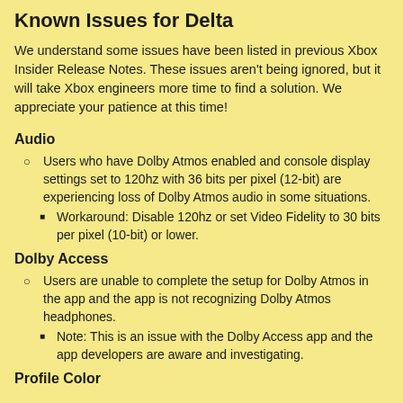Known Issues for Delta
We understand some issues have been listed in previous Xbox Insider Release Notes. These issues aren't being ignored, but it will take Xbox engineers more time to find a solution. We appreciate your patience at this time!
Audio
Users who have Dolby Atmos enabled and console display settings set to 120hz with 36 bits per pixel (12-bit) are experiencing loss of Dolby Atmos audio in some situations.
Workaround: Disable 120hz or set Video Fidelity to 30 bits per pixel (10-bit) or lower.
Dolby Access
Users are unable to complete the setup for Dolby Atmos in the app and the app is not recognizing Dolby Atmos headphones.
Note: This is an issue with the Dolby Access app and the app developers are aware and investigating.
Profile Color